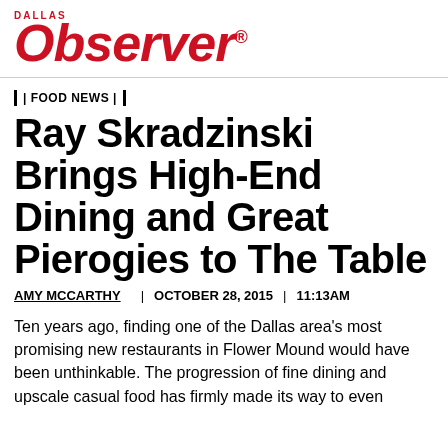Dallas Observer
FOOD NEWS
Ray Skradzinski Brings High-End Dining and Great Pierogies to The Table
AMY MCCARTHY | OCTOBER 28, 2015 | 11:13AM
Ten years ago, finding one of the Dallas area's most promising new restaurants in Flower Mound would have been unthinkable. The progression of fine dining and upscale casual food has firmly made its way to even